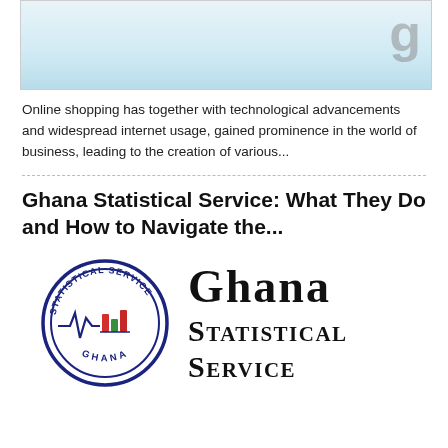[Figure (illustration): Partial cropped image with light blue/teal background, partially visible bold letter 'g' in top-right corner]
Online shopping has together with technological advancements and widespread internet usage, gained prominence in the world of business, leading to the creation of various...
Ghana Statistical Service: What They Do and How to Navigate the...
[Figure (logo): Ghana Statistical Service official logo: circular seal with 'STATISTICAL SERVICE' at top, 'GHANA' at bottom, EKG/heartbeat line with bar chart icons in center; beside it the text 'Ghana Statistical Service' in large serif font with small-caps styling]